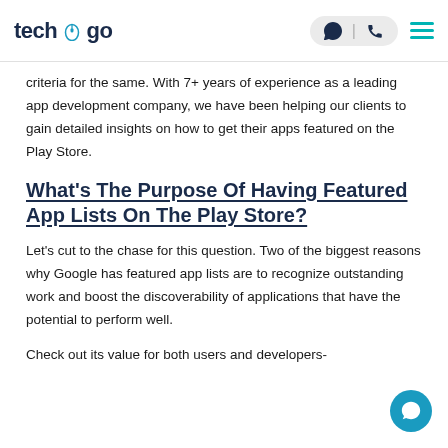techugo
criteria for the same. With 7+ years of experience as a leading app development company, we have been helping our clients to gain detailed insights on how to get their apps featured on the Play Store.
What's The Purpose Of Having Featured App Lists On The Play Store?
Let's cut to the chase for this question. Two of the biggest reasons why Google has featured app lists are to recognize outstanding work and boost the discoverability of applications that have the potential to perform well.
Check out its value for both users and developers-